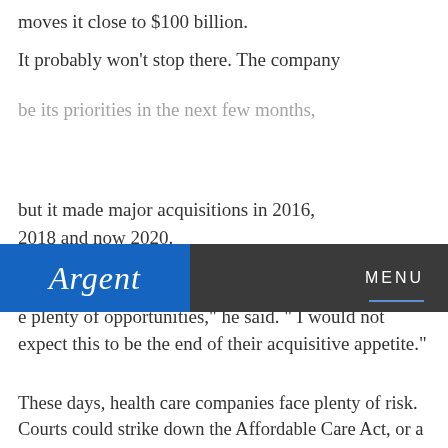moves it close to $100 billion.
It probably won't stop there. The company
[Figure (screenshot): Argent website navigation bar with blue logo on left showing 'Argent' in italic white text on blue background, and 'MENU' text with underline on dark gray background on right]
be its priorities in the next few months, but it made major acquisitions in 2016, 2018 and now 2020.
Harrison sees more deals ahead. " There are going to e plenty of opportunities," he said. " I would not expect this to be the end of their acquisitive appetite."
These days, health care companies face plenty of risk. Courts could strike down the Affordable Care Act, or a new Democratic president might push for a single-payer approach that decreases the role of private insurers.
Centene, however, has thrived during a